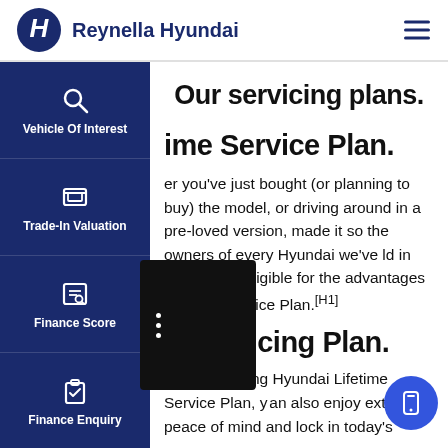Reynella Hyundai
Vehicle Of Interest
Trade-In Valuation
Finance Score
Finance Enquiry
Book A Test Drive
Book a Service
Our servicing plans.
Lifetime Service Plan.
Whether you've just bought (or planning to buy) the latest model, or driving around in a pre-loved version, we've made it so the owners of every Hyundai we've ever sold in Australia is eligible for the advantages of the Lifetime Service Plan.[H1]
Capped Servicing Plan.
Whilst enjoying Hyundai Lifetime Service Plan, you can also enjoy extra peace of mind and lock in today's